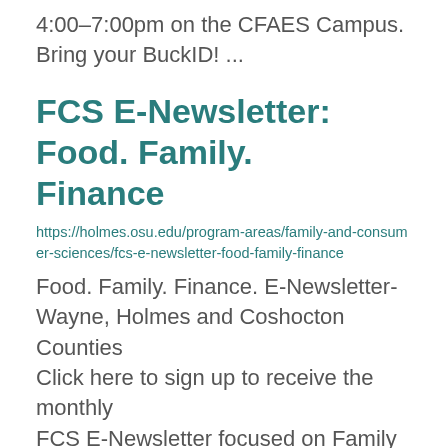4:00–7:00pm on the CFAES Campus. Bring your BuckID! ...
FCS E-Newsletter: Food. Family. Finance
https://holmes.osu.edu/program-areas/family-and-consumer-sciences/fcs-e-newsletter-food-family-finance
Food. Family. Finance. E-Newsletter- Wayne, Holmes and Coshocton Counties Click here to sign up to receive the monthly FCS E-Newsletter focused on Family & Consumer Science programs and topics. ...